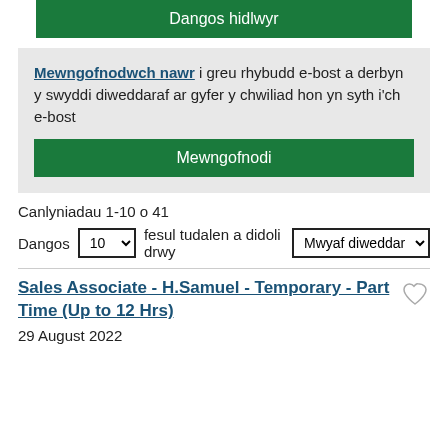Dangos hidlwyr
Mewngofnodwch nawr i greu rhybudd e-bost a derbyn y swyddi diweddaraf ar gyfer y chwiliad hon yn syth i'ch e-bost
Mewngofnodi
Canlyniadau 1-10 o 41
Dangos 10 fesul tudalen a didoli drwy Mwyaf diweddar
Sales Associate - H.Samuel - Temporary - Part Time (Up to 12 Hrs)
29 August 2022